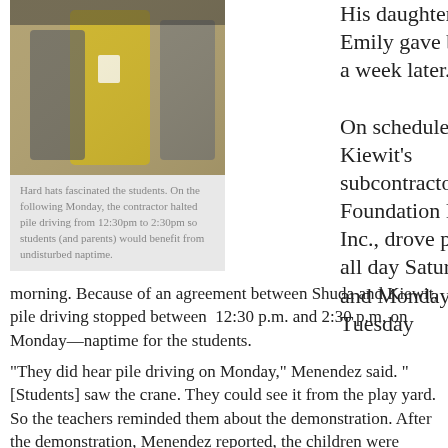[Figure (photo): Photo of students and adults, a person in a yellow dress visible, taken at a construction or school event.]
Hard hats fascinated the students. On the following Monday, the contractor halted pile driving from 12:30pm to 2:30pm so students (and parents) would benefit from undisturbed naptime.
His daughter Emily gave birth a week later.
On schedule, Kiewit's subcontractor, Foundation Pile, Inc., drove pile all day Saturday and Monday and Tuesday morning. Because of an agreement between Shuda and Kiewit, pile driving stopped between 12:30 p.m. and 2:30 p.m. on Monday—naptime for the students.
“They did hear pile driving on Monday,” Menendez said. “[Students] saw the crane. They could see it from the play yard. So the teachers reminded them about the demonstration. After the demonstration, Menendez reported, the children were asking questions of their teachers.